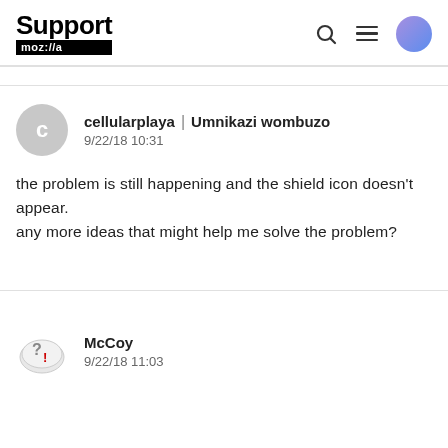Support moz://a
cellularplaya | Umnikazi wombuzo
9/22/18 10:31
the problem is still happening and the shield icon doesn't appear.
any more ideas that might help me solve the problem?
McCoy
9/22/18 11:03